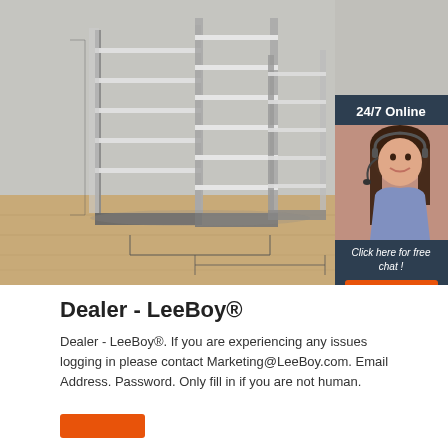[Figure (photo): Photo of white retail store shelving unit with multiple levels on a wood floor, with a grey background. Also includes an overlaid chat widget on the right showing a customer service representative wearing a headset, with '24/7 Online', 'Click here for free chat!' text and a QUOTATION button.]
Dealer - LeeBoy®
Dealer - LeeBoy®. If you are experiencing any issues logging in please contact Marketing@LeeBoy.com. Email Address. Password. Only fill in if you are not human.